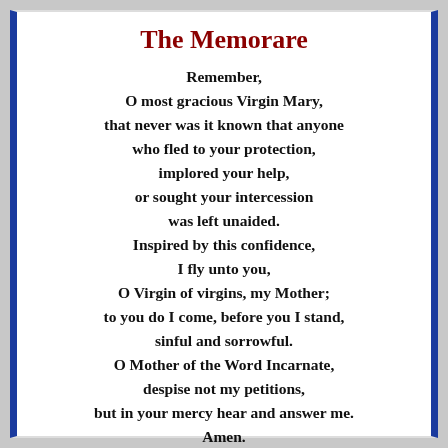The Memorare
Remember,
O most gracious Virgin Mary,
that never was it known that anyone
who fled to your protection,
implored your help,
or sought your intercession
was left unaided.
Inspired by this confidence,
I fly unto you,
O Virgin of virgins, my Mother;
to you do I come, before you I stand,
sinful and sorrowful.
O Mother of the Word Incarnate,
despise not my petitions,
but in your mercy hear and answer me.
Amen.